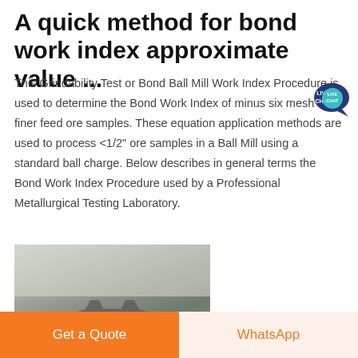A quick method for bond work index approximate value ...
This Grindability Test or Bond Ball Mill Work Index Procedure is used to determine the Bond Work Index of minus six mesh or finer feed ore samples. These equation application methods are used to process <1/2" ore samples in a Ball Mill using a standard ball charge. Below describes in general terms the Bond Work Index Procedure used by a Professional Metallurgical Testing Laboratory.
[Figure (photo): Industrial machinery (likely a ball mill or crushing equipment) with smoke or dust rising in an outdoor setting surrounded by trees.]
Get a Quote
WhatsApp